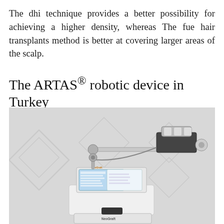The dhi technique provides a better possibility for achieving a higher density, whereas The fue hair transplants method is better at covering larger areas of the scalp.
The ARTAS® robotic device in Turkey
[Figure (photo): Photo of the ARTAS robotic hair transplant device showing a robotic arm mechanism with a NeoGraft control console/tablet interface below it, set against a light gray background with faint diamond pattern watermarks.]